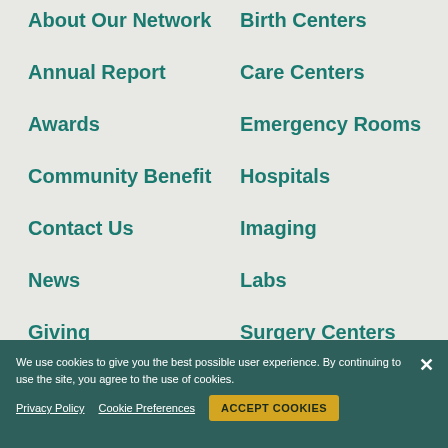About Our Network
Annual Report
Awards
Community Benefit
Contact Us
News
Giving
Birth Centers
Care Centers
Emergency Rooms
Hospitals
Imaging
Labs
Surgery Centers
Urgent Care
We use cookies to give you the best possible user experience. By continuing to use the site, you agree to the use of cookies.
Privacy Policy   Cookie Preferences   ACCEPT COOKIES